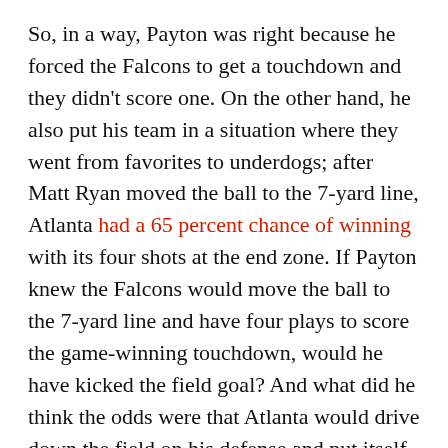So, in a way, Payton was right because he forced the Falcons to get a touchdown and they didn't score one. On the other hand, he also put his team in a situation where they went from favorites to underdogs; after Matt Ryan moved the ball to the 7-yard line, Atlanta had a 65 percent chance of winning with its four shots at the end zone. If Payton knew the Falcons would move the ball to the 7-yard line and have four plays to score the game-winning touchdown, would he have kicked the field goal? And what did he think the odds were that Atlanta would drive down the field on his defense and put itself in a situation to score? I don't think Payton's decision to kick was necessarily wrong, but I also don't believe the outcome proved him to be right, either. And while the Eagles and Patriots were almost surely correct to go for it on fourth down without consideration, the game situation forces Payton to think about this call on the spot as a multilevel problem stretching several possessions into